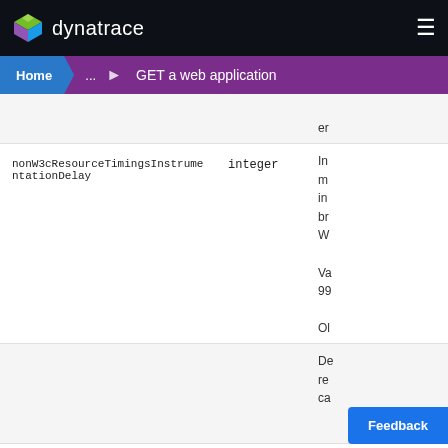dynatrace — GET a web application
| Name | Type | Description |
| --- | --- | --- |
|  |  | er... |
| nonW3cResourceTimingsInstrumentationDelay | integer | In m in br W Va 99 Ol no er |
|  |  | De re ca |
Feedback